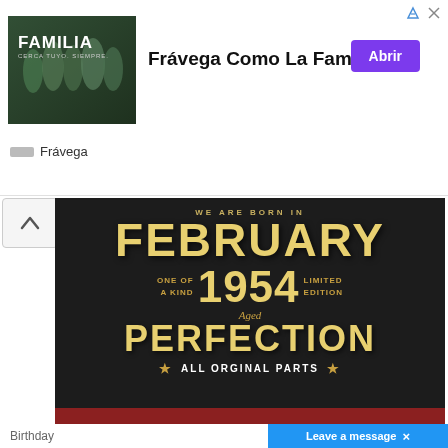[Figure (screenshot): Advertisement banner for Frávega - 'Frávega Como La Familia' with group photo and purple Abrir button]
[Figure (illustration): Dark background image with gold text: WE ARE BORN IN FEBRUARY, ONE OF A KIND 1954 LIMITED EDITION, Aged to PERFECTION, ALL ORGINAL PARTS. Below is a red band with EPS. SVG. PNG text.]
Birthday
Leave a message  ×